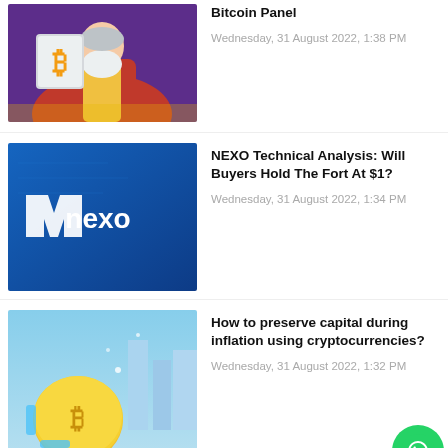[Figure (illustration): Illustration of Moses-like figure holding stone tablets with Bitcoin logo, colorful cartoon style]
Bitcoin Panel
Wednesday, 31 August 2022, 1:38 PM
[Figure (logo): NEXO logo on blue background with Nexo brand icon]
NEXO Technical Analysis: Will Buyers Hold The Fort At $1?
Wednesday, 31 August 2022, 1:34 PM
[Figure (illustration): Cryptocurrency illustration with golden coin and city skyline]
How to preserve capital during inflation using cryptocurrencies?
Wednesday, 31 August 2022, 1:32 PM